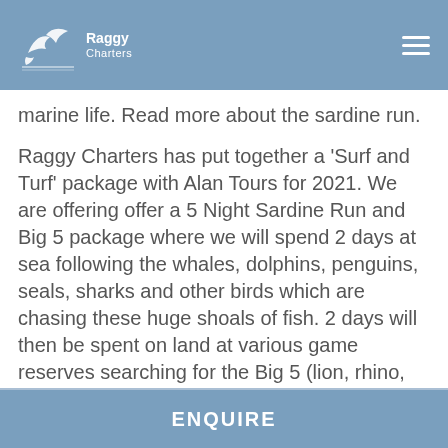Raggy Charters
marine life. Read more about the sardine run.
Raggy Charters has put together a 'Surf and Turf' package with Alan Tours for 2021. We are offering offer a 5 Night Sardine Run and Big 5 package where we will spend 2 days at sea following the whales, dolphins, penguins, seals, sharks and other birds which are chasing these huge shoals of fish. 2 days will then be spent on land at various game reserves searching for the Big 5 (lion, rhino, elephant, buffalo, and leopard), as well as numerous game species and birdlife.
ENQUIRE